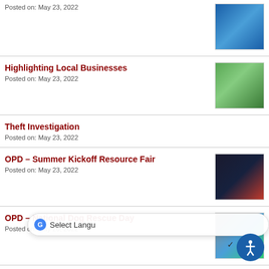Posted on: May 23, 2022
[Figure (photo): Blue event flyer/poster image]
Highlighting Local Businesses
Posted on: May 23, 2022
[Figure (photo): Photo of two people at a local business event]
Theft Investigation
Posted on: May 23, 2022
OPD – Summer Kickoff Resource Fair
Posted on: May 23, 2022
[Figure (photo): Photo of officers at Summer Kickoff Resource Fair with blue/red background]
OPD – National Dog Rescue Day
Posted on: May 20, 2022
[Figure (photo): Collage of dog rescue event photos with blue OPD badge]
OPD - Neighborhood Watch Meeting
[Figure (photo): Photo related to neighborhood watch meeting]